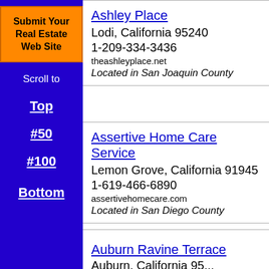[Figure (other): Orange button with bold text: Submit Your Real Estate Web Site]
Scroll to
Top
#50
#100
Bottom
Ashley Place
Lodi, California 95240
1-209-334-3436
theashleyplace.net
Located in San Joaquin County
Assertive Home Care Service
Lemon Grove, California 91945
1-619-466-6890
assertivehomecare.com
Located in San Diego County
Auburn Ravine Terrace
Auburn, California 95...